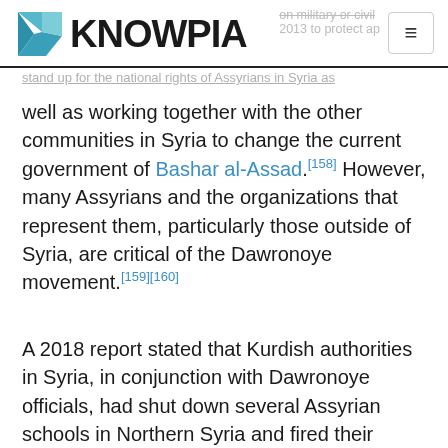KNOWPIA
well as working together with the other communities in Syria to change the current government of Bashar al-Assad.[158] However, many Assyrians and the organizations that represent them, particularly those outside of Syria, are critical of the Dawronoye movement.[159][160]
A 2018 report stated that Kurdish authorities in Syria, in conjunction with Dawronoye officials, had shut down several Assyrian schools in Northern Syria and fired their administration. This was said to be because these schooled failed to register for a license and for rejecting the new curriculum approved by the Education Authority. Closure methods ranged fro. officially shutting down schools to having armed men